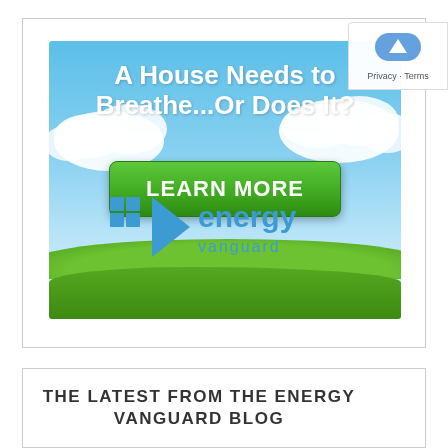[Figure (illustration): Energy Vanguard advertisement banner with sky and grass background. Bold white text reads 'A House Needs to Breathe...Or Does It?' with a green 'LEARN MORE' button and the Energy Vanguard logo below.]
THE LATEST FROM THE ENERGY VANGUARD BLOG